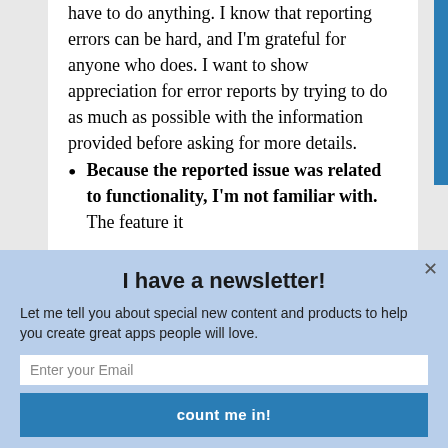have to do anything. I know that reporting errors can be hard, and I'm grateful for anyone who does. I want to show appreciation for error reports by trying to do as much as possible with the information provided before asking for more details.
Because the reported issue was related to functionality, I'm not familiar with. The feature it
I have a newsletter!
Let me tell you about special new content and products to help you create great apps people will love.